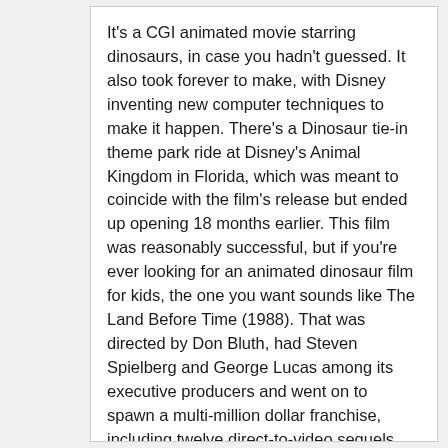It's a CGI animated movie starring dinosaurs, in case you hadn't guessed. It also took forever to make, with Disney inventing new computer techniques to make it happen. There's a Dinosaur tie-in theme park ride at Disney's Animal Kingdom in Florida, which was meant to coincide with the film's release but ended up opening 18 months earlier. This film was reasonably successful, but if you're ever looking for an animated dinosaur film for kids, the one you want sounds like The Land Before Time (1988). That was directed by Don Bluth, had Steven Spielberg and George Lucas among its executive producers and went on to spawn a multi-million dollar franchise, including twelve direct-to-video sequels, merchandise and a TV series.
The Disney one isn't horrible, but it's not great either. It's disappointing when the prehistoric animals start speaking, but you soon get over that and at least we'd